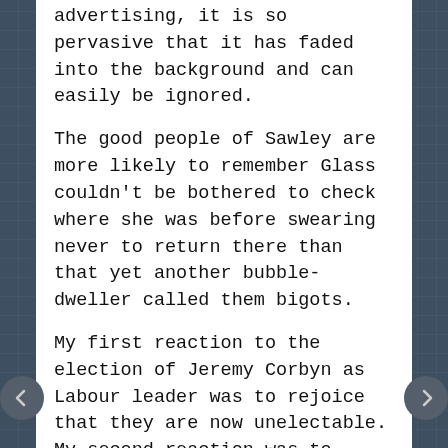advertising, it is so pervasive that it has faded into the background and can easily be ignored.
The good people of Sawley are more likely to remember Glass couldn't be bothered to check where she was before swearing never to return there than that yet another bubble-dweller called them bigots.
My first reaction to the election of Jeremy Corbyn as Labour leader was to rejoice that they are now unelectable. My second reaction was to realise it takes the pressure off the Conservative Party to stop talking pointlessly to Polly and recover its connection with its voters. My third reaction is to welcome the imminent return of adversarial politics from distinctly different political perspectives. I want to see politicians as opposing barristers pleading their cases to the jury that is us. The